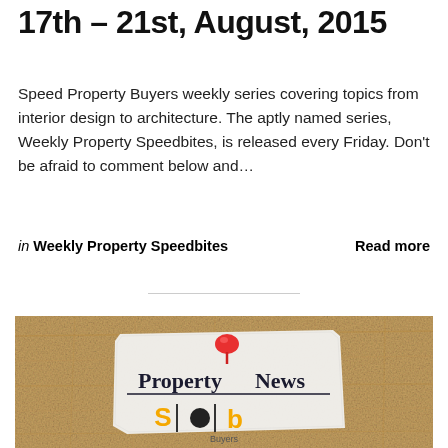17th – 21st, August, 2015
Speed Property Buyers weekly series covering topics from interior design to architecture. The aptly named series, Weekly Property Speedbites, is released every Friday. Don't be afraid to comment below and…
in Weekly Property Speedbites   Read more
[Figure (photo): A corkboard with a torn paper note pinned by a red pin displaying 'Property News' and the Speed Property Buyers logo below it.]